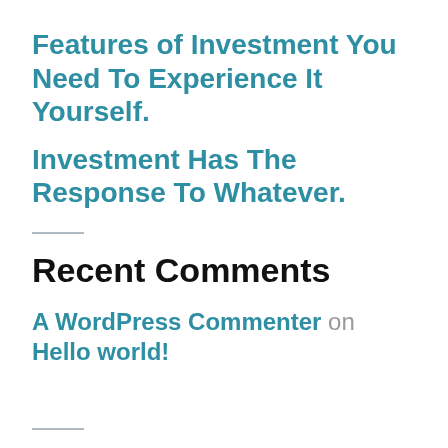Features of Investment You Need To Experience It Yourself.
Investment Has The Response To Whatever.
Recent Comments
A WordPress Commenter on Hello world!